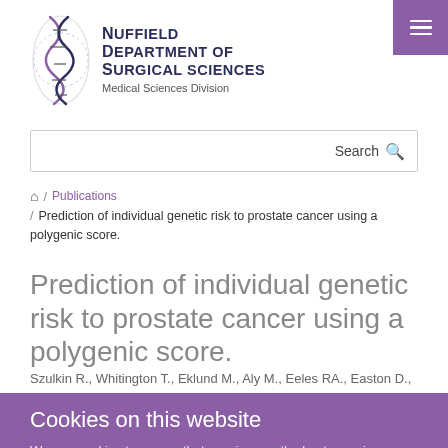[Figure (logo): Nuffield Department of Surgical Sciences logo with DNA helix graphic and text: NUFFIELD DEPARTMENT OF SURGICAL SCIENCES, Medical Sciences Division]
[Figure (screenshot): Purple hamburger menu button in top right corner]
Search
🏠 / Publications / Prediction of individual genetic risk to prostate cancer using a polygenic score.
Prediction of individual genetic risk to prostate cancer using a polygenic score.
Szulkin R., Whitington T., Eklund M., Aly M., Eeles RA., Easton D.,
Cookies on this website
We use cookies to ensure that we give you the best experience on our website. If you click 'Accept all cookies'